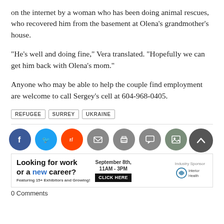on the internet by a woman who has been doing animal rescues, who recovered him from the basement at Olena's grandmother's house.
“He’s well and doing fine,” Vera translated. “Hopefully we can get him back with Olena’s mom.”
Anyone who may be able to help the couple find employment are welcome to call Sergey’s cell at 604-968-0405.
REFUGEE
SURREY
UKRAINE
[Figure (other): Social media sharing icons row: Facebook, Twitter, Reddit, Email, Print, Comment, Image. Scroll-to-top arrow button on right.]
[Figure (other): Advertisement banner: Looking for work or a new career? September 8th, 11AM-3PM. Featuring 15+ Exhibitors and Growing! CLICK HERE. Industry Sponsor: Interior Health logo.]
0 Comments